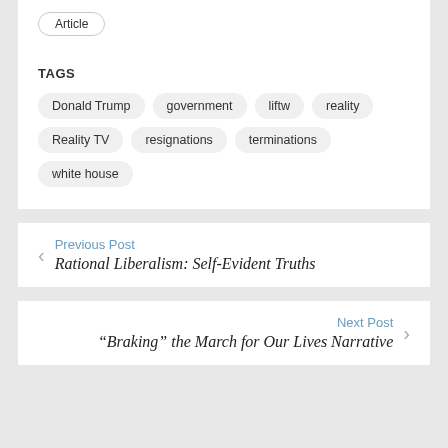Article
TAGS
Donald Trump
government
liftw
reality
Reality TV
resignations
terminations
white house
Previous Post
Rational Liberalism: Self-Evident Truths
Next Post
“Braking” the March for Our Lives Narrative